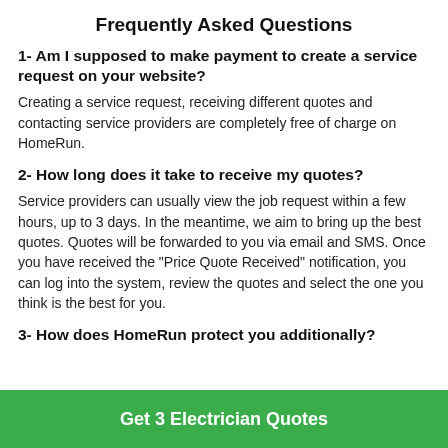Frequently Asked Questions
1- Am I supposed to make payment to create a service request on your website?
Creating a service request, receiving different quotes and contacting service providers are completely free of charge on HomeRun.
2- How long does it take to receive my quotes?
Service providers can usually view the job request within a few hours, up to 3 days. In the meantime, we aim to bring up the best quotes. Quotes will be forwarded to you via email and SMS. Once you have received the "Price Quote Received" notification, you can log into the system, review the quotes and select the one you think is the best for you.
3- How does HomeRun protect you additionally?
Get 3 Electrician Quotes